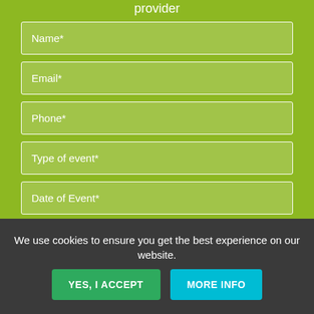provider
Name*
Email*
Phone*
Type of event*
Date of Event*
Alternative date?
We use cookies to ensure you get the best experience on our website.
YES, I ACCEPT
MORE INFO